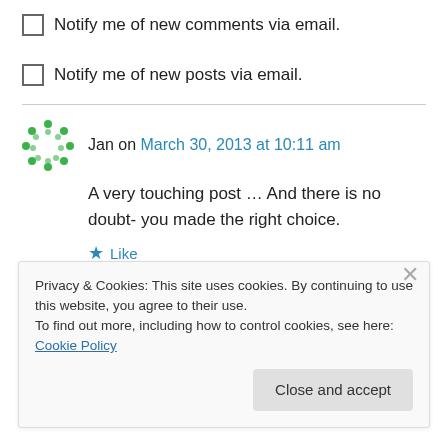Notify me of new comments via email.
Notify me of new posts via email.
Jan on March 30, 2013 at 10:11 am
A very touching post … And there is no doubt- you made the right choice.
★ Like
↪ Reply
Privacy & Cookies: This site uses cookies. By continuing to use this website, you agree to their use.
To find out more, including how to control cookies, see here: Cookie Policy
Close and accept